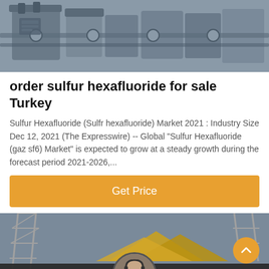[Figure (photo): Industrial equipment photo showing pipes and valves, gray toned]
order sulfur hexafluoride for sale Turkey
Sulfur Hexafluoride (Sulfr hexafluoride) Market 2021 : Industry Size Dec 12, 2021 (The Expresswire) -- Global "Sulfur Hexafluoride (gaz sf6) Market" is expected to grow at a steady growth during the forecast period 2021-2026,...
[Figure (other): Get Price button - orange/amber colored call-to-action button]
[Figure (photo): Industrial outdoor photo showing scaffolding structures and yellow rooftop shapes, with chat agent avatar and footer bar with Leave Message and Chat Online buttons]